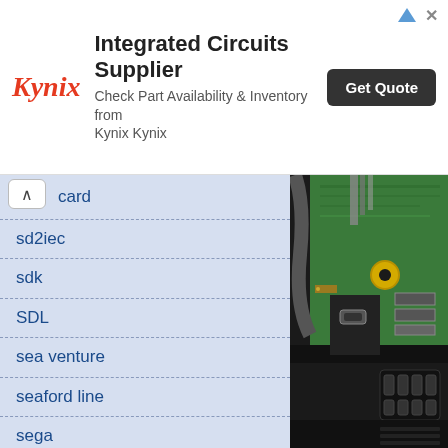[Figure (screenshot): Kynix advertisement banner: Integrated Circuits Supplier, Check Part Availability & Inventory from Kynix Kynix, Get Quote button]
card
sd2iec
sdk
SDL
sea venture
seaford line
sega
sega Game Gear
sega master system
senomaty
sequencer
sequencer one
series
server
serviceton
[Figure (photo): Close-up photo of electronic hardware showing a green PCB circuit board with connectors installed in a black chassis/enclosure, with visible USB-C port and ribbon cable connectors]